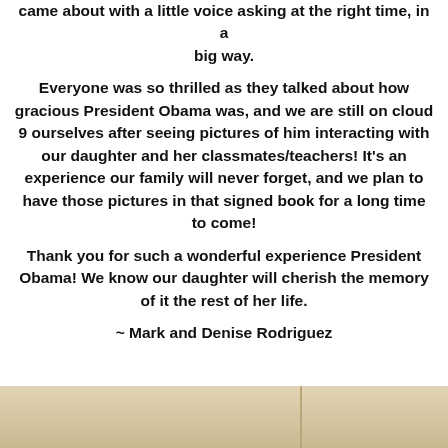came about with a little voice asking at the right time, in a big way.
Everyone was so thrilled as they talked about how gracious President Obama was, and we are still on cloud 9 ourselves after seeing pictures of him interacting with our daughter and her classmates/teachers! It's an experience our family will never forget, and we plan to have those pictures in that signed book for a long time to come!
Thank you for such a wonderful experience President Obama! We know our daughter will cherish the memory of it the rest of her life.
~ Mark and Denise Rodriguez
[Figure (photo): Bottom portion of a photograph, appears to show a light-colored background with a vertical dividing line, possibly people or objects partially visible]